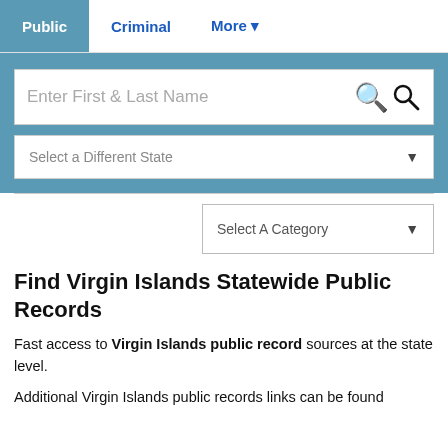Public | Criminal | More
[Figure (screenshot): Search bar with placeholder text 'Enter First & Last Name' and a search icon]
[Figure (screenshot): Dropdown selector labeled 'Select a Different State' with a down arrow]
[Figure (screenshot): Dropdown selector labeled 'Select A Category' with a down arrow]
Find Virgin Islands Statewide Public Records
Fast access to Virgin Islands public record sources at the state level.
Additional Virgin Islands public records links can be found